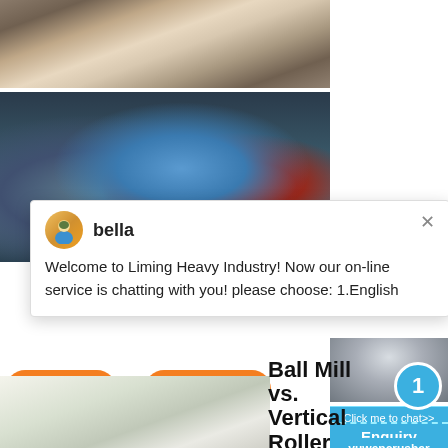[Figure (photo): Outdoor mining/crushing machinery equipment on a construction site, with conveyor belts and large industrial machinery visible]
[Figure (photo): Aerial/close-up industrial view of large industrial mill or grinding equipment with blue drum, red components, and yellow mechanical parts]
bella
Welcome to Liming Heavy Industry! Now our on-line service is chatting with you! please choose: 1.English
Ball Mill vs. Vertical Roller Mill - bulk-online
this way. efficiency and exergy Detecting of the
More
Get Price
Email contact
1
Click me to chat>>
Enquiry
yuwencrusher
[Figure (photo): Industrial processing plant or quarry with white conical structures/silos visible against a light background]